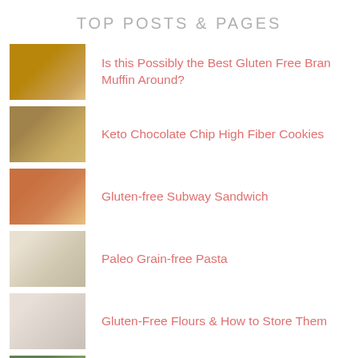TOP POSTS & PAGES
Is this Possibly the Best Gluten Free Bran Muffin Around?
Keto Chocolate Chip High Fiber Cookies
Gluten-free Subway Sandwich
Paleo Grain-free Pasta
Gluten-Free Flours & How to Store Them
The Top 5 Reasons you should add Matcha to your Diet
Coconut Cashew Chicken Korma
Eating Clean vs Whole 30
(partial item)